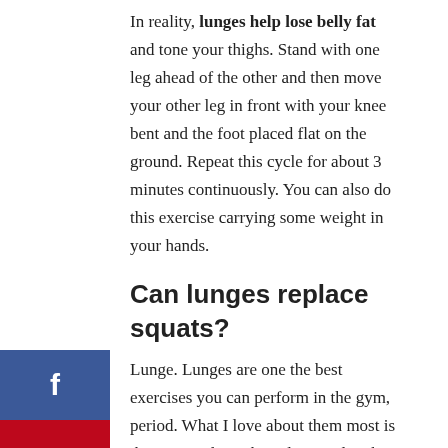In reality, lunges help lose belly fat and tone your thighs. Stand with one leg ahead of the other and then move your other leg in front with your knee bent and the foot placed flat on the ground. Repeat this cycle for about 3 minutes continuously. You can also do this exercise carrying some weight in your hands.
Can lunges replace squats?
Lunge. Lunges are one the best exercises you can perform in the gym, period. What I love about them most is their versatility. They also involve the hip, knee, and ankle and as such are a perfect alternative to the squat.
Is 100 calories a lot to burn?
A pound of fat equals 3,500 calories. Shaving 100 calories each day for 365 days is roughly 36,500 calories, equivalent to 10 pounds of pure fat. You could double your weight loss to 20